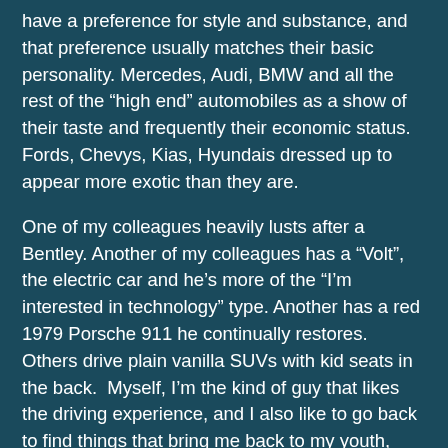have a preference for style and substance, and that preference usually matches their basic personality. Mercedes, Audi, BMW and all the rest of the “high end” automobiles as a show of their taste and frequently their economic status. Fords, Chevys, Kias, Hyundais dressed up to appear more exotic than they are.

One of my colleagues heavily lusts after a Bentley. Another of my colleagues has a “Volt”, the electric car and he’s more of the “I’m interested in technology” type. Another has a red 1979 Porsche 911 he continually restores.  Others drive plain vanilla SUVs with kid seats in the back.  Myself, I’m the kind of guy that likes the driving experience, and I also like to go back to find things that bring me back to my youth, and I have a short span of attention, so I rarely keep anything for more than two or three years.  I especially like motorcycling because of the pure driving (riding) experience (said to be close to that of flying) and because I can obtain machines exactly like those I loved in my youth. I’m exceptionally lucky to have